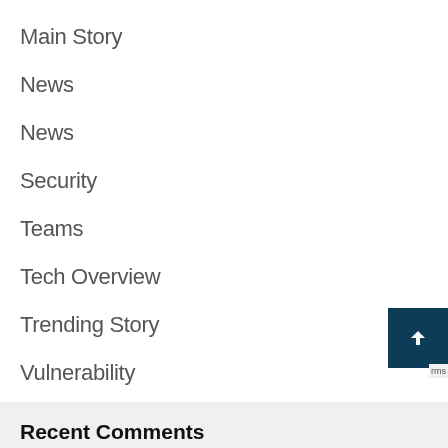Main Story
News
News
Security
Teams
Tech Overview
Trending Story
Vulnerability
Recent Comments
Archives